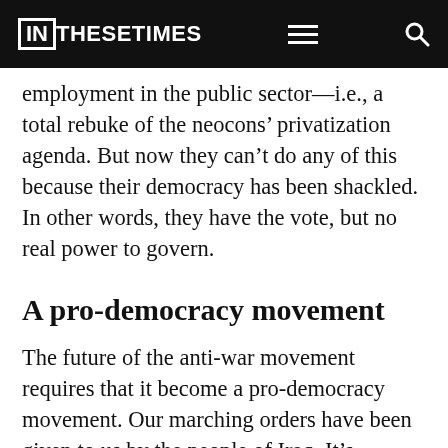IN THESE TIMES
employment in the public sector—i.e., a total rebuke of the neocons' privatization agenda. But now they can't do any of this because their democracy has been shackled. In other words, they have the vote, but no real power to govern.
A pro-democracy movement
The future of the anti-war movement requires that it become a pro-democracy movement. Our marching orders have been given to us by the people of Iraq. It's important to understand that the most powerful movement against this war and this occupation is within Iraq itself. Our anti-war movement must not